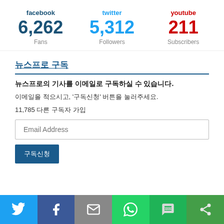facebook 6,262 Fans
twitter 5,312 Followers
youtube 211 Subscribers
뉴스프로 구독
뉴스프로의 기사를 이메일로 구독하실 수 있습니다.
이메일을 적으시고, '구독신청' 버튼을 눌러주세요.
11,785 다른 구독자 가입
Email Address
구독신청
[Figure (infographic): Social share bar with icons for Twitter, Facebook, Email, WhatsApp, SMS, and share]